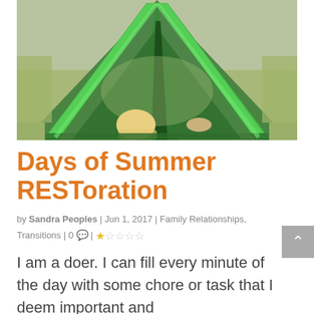[Figure (photo): A child inside a green A-frame tent viewed from behind, looking out over a grassy field. The bright green tent poles form a triangle shape framing the outdoor scene.]
Days of Summer RESToration
by Sandra Peoples | Jun 1, 2017 | Family Relationships, Transitions | 0 💬 | ★☆☆☆☆
I am a doer. I can fill every minute of the day with some chore or task that I deem important and